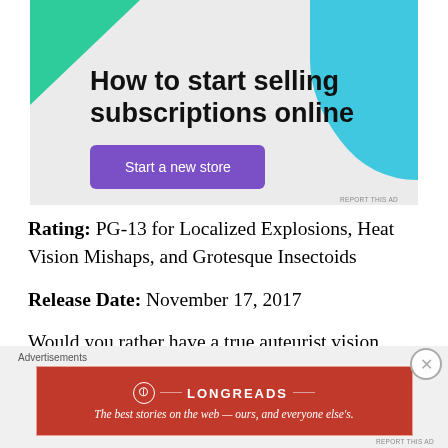[Figure (infographic): Advertisement banner: 'How to start selling subscriptions online' with a purple 'Start a new store' button, green and blue decorative shapes on a light gray background]
REPORT THIS AD
Rating: PG-13 for Localized Explosions, Heat Vision Mishaps, and Grotesque Insectoids
Release Date: November 17, 2017
Would you rather have a true auteurist vision that is decidedly ugly and off-putting, or a plainly adequate film
Advertisements
[Figure (infographic): Longreads advertisement: red background with Longreads logo and tagline 'The best stories on the web — ours, and everyone else's.']
REPORT THIS AD